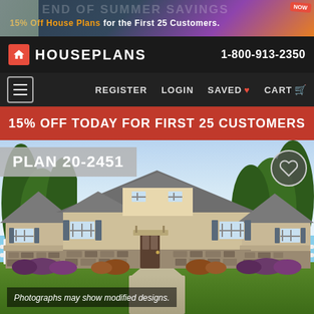[Figure (screenshot): Top banner with end of summer savings promotion — 15% Off House Plans for the First 25 Customers, with NOW badge]
HOUSEPLANS   1-800-913-2350
REGISTER   LOGIN   SAVED ♥   CART 🛒
15% OFF TODAY FOR FIRST 25 CUSTOMERS
PLAN 20-2451
[Figure (photo): Exterior rendering of a large craftsman-style single-story house with stone accents, beige siding, gray roof, shutters, front entry, surrounded by trees and landscaping on a green lawn.]
Photographs may show modified designs.